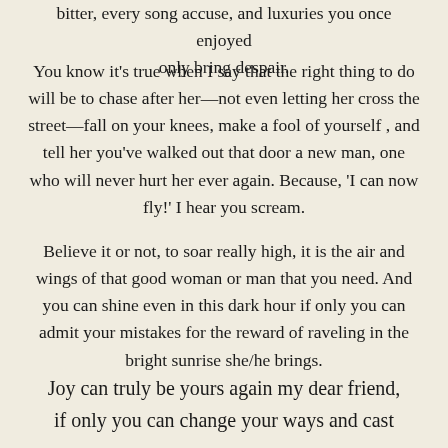bitter, every song accuse, and luxuries you once enjoyed only bring despair.
You know it's true when I say that the right thing to do will be to chase after her—not even letting her cross the street—fall on your knees, make a fool of yourself , and tell her you've walked out that door a new man, one who will never hurt her ever again. Because, 'I can now fly!' I hear you scream.
Believe it or not, to soar really high, it is the air and wings of that good woman or man that you need. And you can shine even in this dark hour if only you can admit your mistakes for the reward of raveling in the bright sunrise she/he brings.
Joy can truly be yours again my dear friend, if only you can change your ways and cast